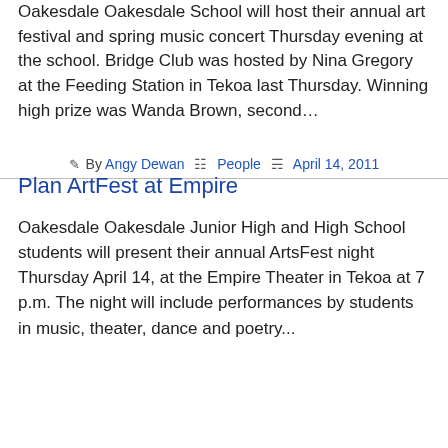Oakesdale Oakesdale School will host their annual art festival and spring music concert Thursday evening at the school. Bridge Club was hosted by Nina Gregory at the Feeding Station in Tekoa last Thursday. Winning high prize was Wanda Brown, second...
By Angy Dewan  People  April 14, 2011
Plan ArtFest at Empire
Oakesdale Oakesdale Junior High and High School students will present their annual ArtsFest night Thursday April 14, at the Empire Theater in Tekoa at 7 p.m. The night will include performances by students in music, theater, dance and poetry...